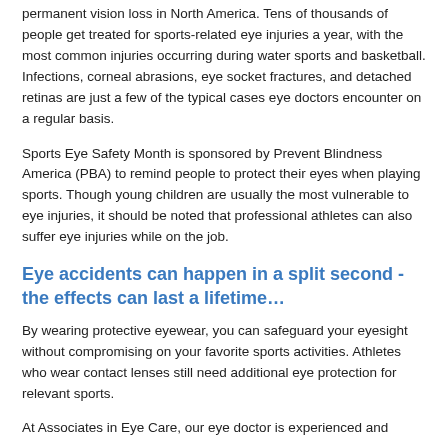permanent vision loss in North America. Tens of thousands of people get treated for sports-related eye injuries a year, with the most common injuries occurring during water sports and basketball. Infections, corneal abrasions, eye socket fractures, and detached retinas are just a few of the typical cases eye doctors encounter on a regular basis.
Sports Eye Safety Month is sponsored by Prevent Blindness America (PBA) to remind people to protect their eyes when playing sports. Though young children are usually the most vulnerable to eye injuries, it should be noted that professional athletes can also suffer eye injuries while on the job.
Eye accidents can happen in a split second - the effects can last a lifetime…
By wearing protective eyewear, you can safeguard your eyesight without compromising on your favorite sports activities. Athletes who wear contact lenses still need additional eye protection for relevant sports.
At Associates in Eye Care, our eye doctor is experienced and